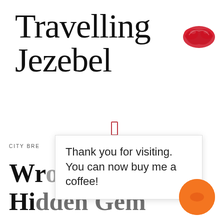Travelling Jezebel
[Figure (logo): Red lips/kiss mark SVG icon to the right of the logo text]
[Figure (other): Small red outlined rectangle icon in center]
CITY BRE... BEATEN PATH, PO...
Wro  Hidden Gem...
Thank you for visiting. You can now buy me a coffee!
[Figure (other): Orange circle button in bottom right corner]